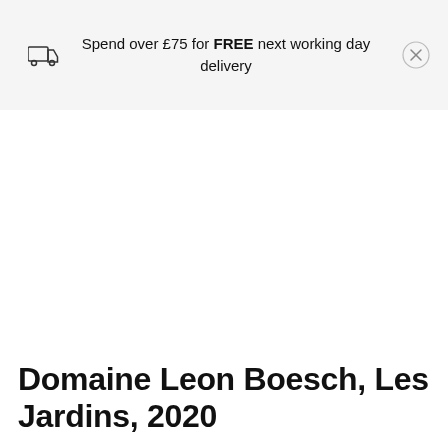Spend over £75 for FREE next working day delivery
Domaine Leon Boesch, Les Jardins, 2020